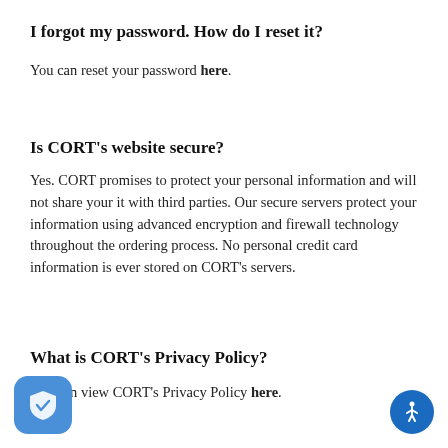I forgot my password. How do I reset it?
You can reset your password here.
Is CORT's website secure?
Yes. CORT promises to protect your personal information and will not share your it with third parties. Our secure servers protect your information using advanced encryption and firewall technology throughout the ordering process. No personal credit card information is ever stored on CORT's servers.
What is CORT's Privacy Policy?
You can view CORT's Privacy Policy here.